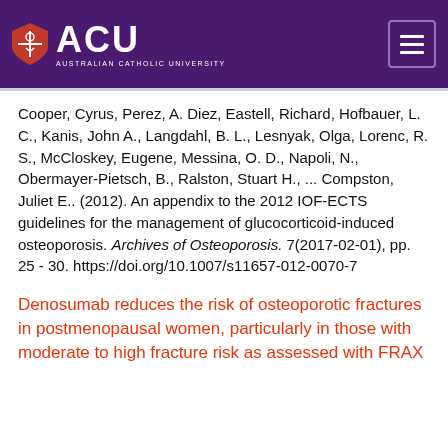[Figure (logo): Australian Catholic University (ACU) logo on dark purple header background with hamburger menu icon]
Cooper, Cyrus, Perez, A. Diez, Eastell, Richard, Hofbauer, L. C., Kanis, John A., Langdahl, B. L., Lesnyak, Olga, Lorenc, R. S., McCloskey, Eugene, Messina, O. D., Napoli, N., Obermayer-Pietsch, B., Ralston, Stuart H., ... Compston, Juliet E.. (2012). An appendix to the 2012 IOF-ECTS guidelines for the management of glucocorticoid-induced osteoporosis. Archives of Osteoporosis. 7(2017-02-01), pp. 25 - 30. https://doi.org/10.1007/s11657-012-0070-7
Denosumab reduces the risk of osteoporotic fractures in postmenopausal women, particularly in those with moderate to high fracture risk as assessed with FRAX